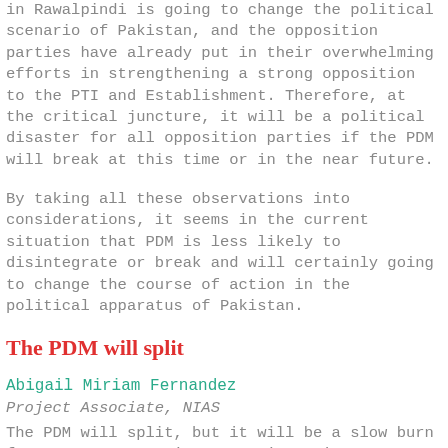in Rawalpindi is going to change the political scenario of Pakistan, and the opposition parties have already put in their overwhelming efforts in strengthening a strong opposition to the PTI and Establishment. Therefore, at the critical juncture, it will be a political disaster for all opposition parties if the PDM will break at this time or in the near future.
By taking all these observations into considerations, it seems in the current situation that PDM is less likely to disintegrate or break and will certainly going to change the course of action in the political apparatus of Pakistan.
The PDM will split
Abigail Miriam Fernandez
Project Associate, NIAS
The PDM will split, but it will be a slow burn for two reasons. First, PPP is moving away. The PPP has the most to lose; it retains its government in Sindh, it has built a fairly reliable channel of communication with the Establishment